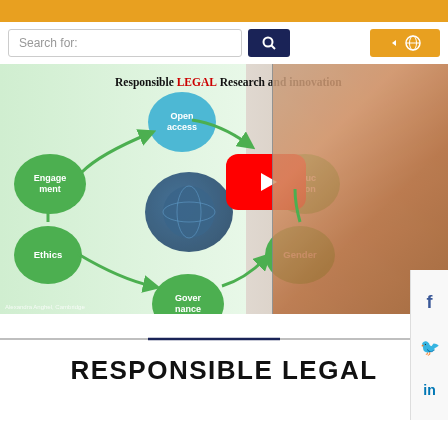[Figure (screenshot): Website screenshot showing a search bar with 'Search for:' placeholder text, a dark blue search button with magnifying glass icon, and a yellow language/globe button on the right.]
[Figure (screenshot): Video thumbnail showing 'Responsible LEGAL Research and innovation' diagram with circular green nodes labeled Open access, Engagement, Ethics, Governance, Gender, Education, and a globe image in the center. A YouTube play button overlay is visible. A woman with glasses wearing an orange jacket appears on the right side of the thumbnail. Small watermark text reads 'Alexandra Anghel, Cambridge'.]
RESPONSIBLE LEGAL